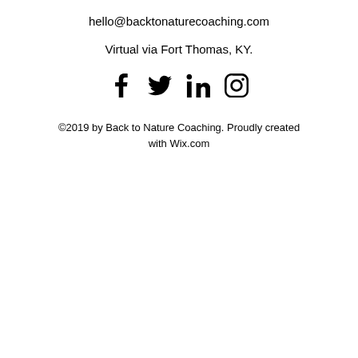hello@backtonaturecoaching.com
Virtual via Fort Thomas, KY.
[Figure (illustration): Social media icons: Facebook, Twitter, LinkedIn, Instagram]
©2019 by Back to Nature Coaching. Proudly created with Wix.com